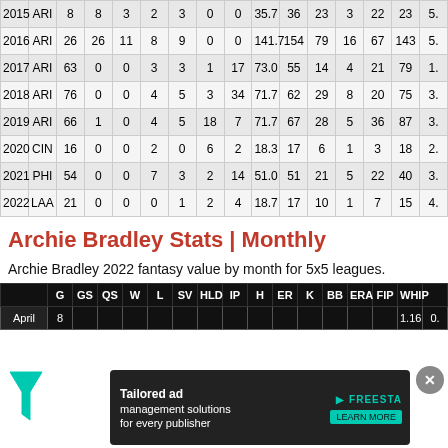| Year | Team | G | GS | QS | W | L | SV | HLD | IP | H | ER | K | BB | ERA | ... |
| --- | --- | --- | --- | --- | --- | --- | --- | --- | --- | --- | --- | --- | --- | --- | --- |
| 2015 | ARI | 8 | 8 | 3 | 2 | 3 | 0 | 0 | 35.7 | 36 | 23 | 3 | 22 | 23 | 5. |
| 2016 | ARI | 26 | 26 | 11 | 8 | 9 | 0 | 0 | 141.7 | 154 | 79 | 16 | 67 | 143 | 5. |
| 2017 | ARI | 63 | 0 | 0 | 3 | 3 | 1 | 17 | 73.0 | 55 | 14 | 4 | 21 | 79 | 1. |
| 2018 | ARI | 76 | 0 | 0 | 4 | 5 | 3 | 34 | 71.7 | 62 | 29 | 8 | 20 | 75 | 3. |
| 2019 | ARI | 66 | 1 | 0 | 4 | 5 | 18 | 7 | 71.7 | 67 | 28 | 5 | 36 | 87 | 3. |
| 2020 | CIN | 16 | 0 | 0 | 2 | 0 | 6 | 2 | 18.3 | 17 | 6 | 1 | 3 | 18 | 2. |
| 2021 | PHI | 54 | 0 | 0 | 7 | 3 | 2 | 14 | 51.0 | 51 | 21 | 5 | 22 | 40 | 3. |
| 2022 | LAA | 21 | 0 | 0 | 0 | 1 | 2 | 4 | 18.7 | 17 | 10 | 1 | 7 | 15 | 4. |
Archie Bradley Stats | Monthly
Archie Bradley 2022 fantasy value by month for 5x5 leagues.
|  | G | GS | QS | W | L | SV | HLD | IP | H | ER | K | BB | ERA | FIP | WHIP | ... |
| --- | --- | --- | --- | --- | --- | --- | --- | --- | --- | --- | --- | --- | --- | --- | --- | --- |
| April | 8 |  |  |  |  |  |  |  |  |  |  |  |  |  | 1.16 | 0. |